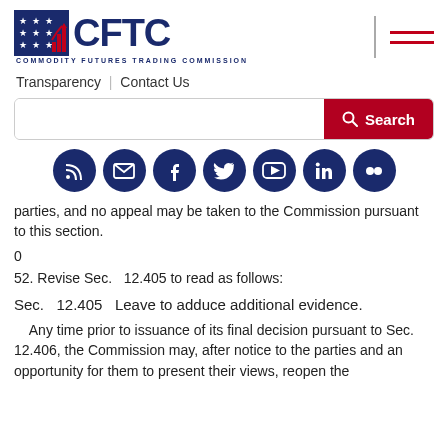[Figure (logo): CFTC (Commodity Futures Trading Commission) logo with flag icon and bar chart icon]
[Figure (other): Hamburger menu icon with two red horizontal lines and vertical separator]
Transparency | Contact Us
[Figure (screenshot): Search bar with red Search button]
[Figure (infographic): Row of 7 social media icons: RSS, Email, Facebook, Twitter, YouTube, LinkedIn, Flickr — all dark navy circular icons]
parties, and no appeal may be taken to the Commission pursuant to this section.
0
52. Revise Sec.  12.405 to read as follows:
Sec.  12.405  Leave to adduce additional evidence.
Any time prior to issuance of its final decision pursuant to Sec. 12.406, the Commission may, after notice to the parties and an opportunity for them to present their views, reopen the